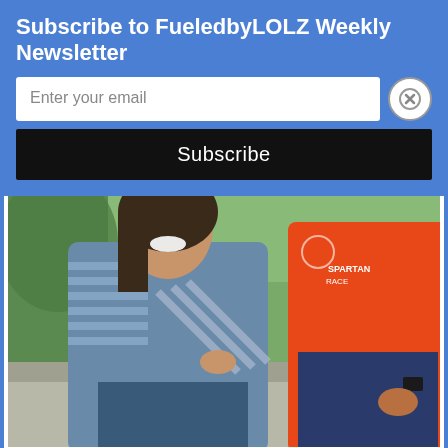Subscribe to FueledbyLOLZ Weekly Newsletter
Enter your email
Subscribe
[Figure (photo): Two people (a woman in a grey striped long-sleeve shirt and a man in an orange long-sleeve shirt and navy shorts) posing next to a car outdoors. The woman is pointing toward the camera and smiling.]
View more on Instagram